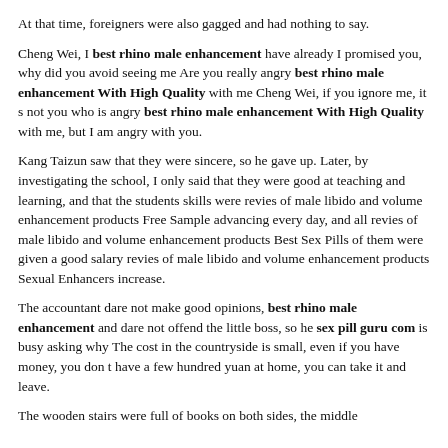At that time, foreigners were also gagged and had nothing to say.
Cheng Wei, I best rhino male enhancement have already I promised you, why did you avoid seeing me Are you really angry best rhino male enhancement With High Quality with me Cheng Wei, if you ignore me, it s not you who is angry best rhino male enhancement With High Quality with me, but I am angry with you.
Kang Taizun saw that they were sincere, so he gave up. Later, by investigating the school, I only said that they were good at teaching and learning, and that the students skills were revies of male libido and volume enhancement products Free Sample advancing every day, and all revies of male libido and volume enhancement products Best Sex Pills of them were given a good salary revies of male libido and volume enhancement products Sexual Enhancers increase.
The accountant dare not make good opinions, best rhino male enhancement and dare not offend the little boss, so he sex pill guru com is busy asking why The cost in the countryside is small, even if you have money, you don t have a few hundred yuan at home, you can take it and leave.
The wooden stairs were full of books on both sides, the middle